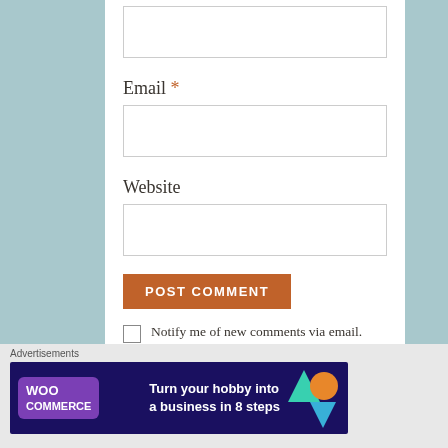Email *
Website
POST COMMENT
Notify me of new comments via email.
Notify me of new posts
[Figure (screenshot): WooCommerce advertisement banner: 'Turn your hobby into a business in 8 steps']
Advertisements